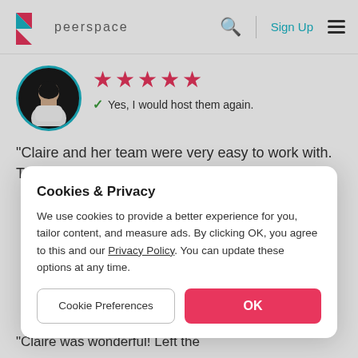peerspace — Sign Up
[Figure (illustration): Circular avatar photo of a woman in white clothing on dark background with teal border]
★★★★★
✓ Yes, I would host them again.
"Claire and her team were very easy to work with. They treated the place like their own. I would
Cookies & Privacy
We use cookies to provide a better experience for you, tailor content, and measure ads. By clicking OK, you agree to this and our Privacy Policy. You can update these options at any time.
Cookie Preferences
OK
"Claire was wonderful! Left the